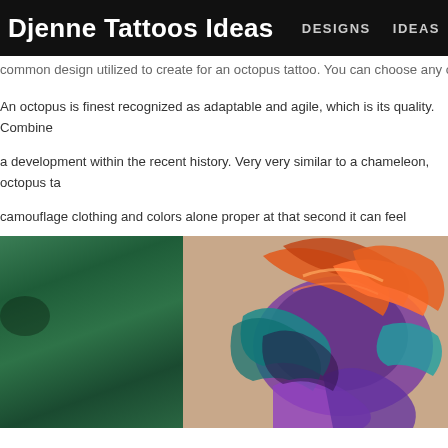Djenne Tattoos Ideas   DESIGNS   IDEAS
common design utilized to create for an octopus tattoo. You can choose any octopus
An octopus is finest recognized as adaptable and agile, which is its quality. Combine a development within the recent history. Very very similar to a chameleon, octopus ta camouflage clothing and colors alone proper at that second it can feel endangered. U reflection. What's connected to the concept of the octopus tattoo is numerous. Other able to excise the portion of the skin containing the tattoo and stitch the remaining sk means of the layer of the skin. The laser works by using gentle energy to penetrate th particles that lay beneath the epidermis. The particles of the ink are then shattered a the bodily waste system. It merely means that could possibly adapt it to completely d its power to efficiently merge into its ambiance and to keep away from hazards so the
[Figure (photo): Split image: left side shows dark green foliage/nature background; right side shows a colorful tattoo art piece with orange, teal, purple and multicolored swirling design on skin.]